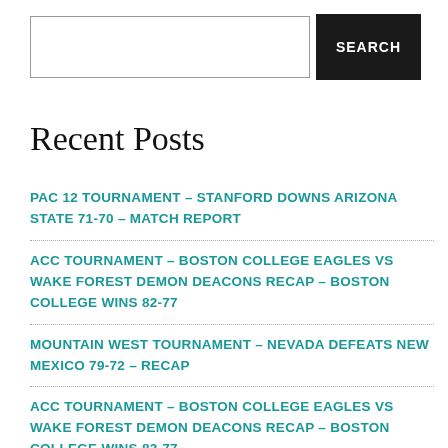[Figure (screenshot): Search bar with text input field and dark SEARCH button]
Recent Posts
PAC 12 TOURNAMENT – STANFORD DOWNS ARIZONA STATE 71-70 – MATCH REPORT
ACC TOURNAMENT – BOSTON COLLEGE EAGLES VS WAKE FOREST DEMON DEACONS RECAP – BOSTON COLLEGE WINS 82-77
MOUNTAIN WEST TOURNAMENT – NEVADA DEFEATS NEW MEXICO 79-72 – RECAP
ACC TOURNAMENT – BOSTON COLLEGE EAGLES VS WAKE FOREST DEMON DEACONS RECAP – BOSTON COLLEGE WINS 82-77